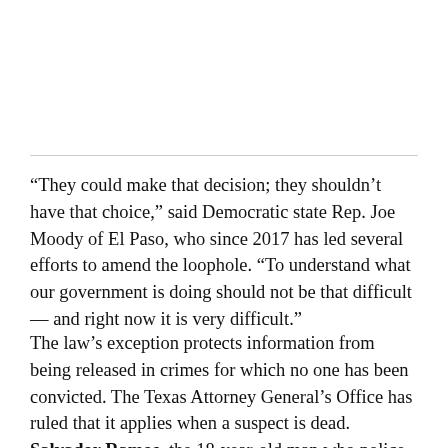“They could make that decision; they shouldn’t have that choice,” said Democratic state Rep. Joe Moody of El Paso, who since 2017 has led several efforts to amend the loophole. “To understand what our government is doing should not be that difficult — and right now it is very difficult.”
The law’s exception protects information from being released in crimes for which no one has been convicted. The Texas Attorney General’s Office has ruled that it applies when a suspect is dead. Salvador Ramos, the 18-year-old man who police say was